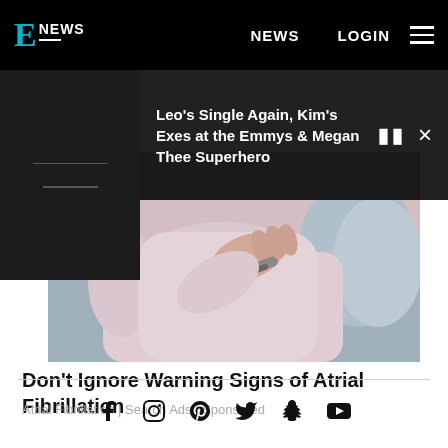E! NEWS  NEWS  LOGIN
Leo's Single Again, Kim's Exes at the Emmys & Megan Thee Superhero
[Figure (photo): Woman in pink/lavender top sitting on grey couch, hand on chest, cropped at torso level]
Don't Ignore Warning Signs of Atrial Fibrillation
Atrial Fibrillation | Search Ads | Sponsored
Social media icons: Facebook, Instagram, Pinterest, Twitter, Snapchat, YouTube